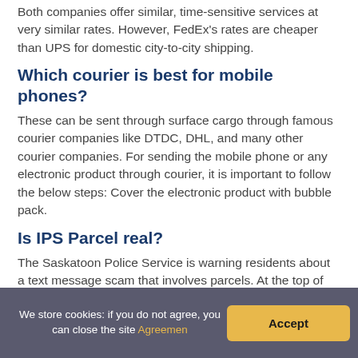Both companies offer similar, time-sensitive services at very similar rates. However, FedEx's rates are cheaper than UPS for domestic city-to-city shipping.
Which courier is best for mobile phones?
These can be sent through surface cargo through famous courier companies like DTDC, DHL, and many other courier companies. For sending the mobile phone or any electronic product through courier, it is important to follow the below steps: Cover the electronic product with bubble pack.
Is IPS Parcel real?
The Saskatoon Police Service is warning residents about a text message scam that involves parcels. At the top of the message, a logo that looks like UPS, at all
We store cookies: if you do not agree, you can close the site Agreemen   Accept